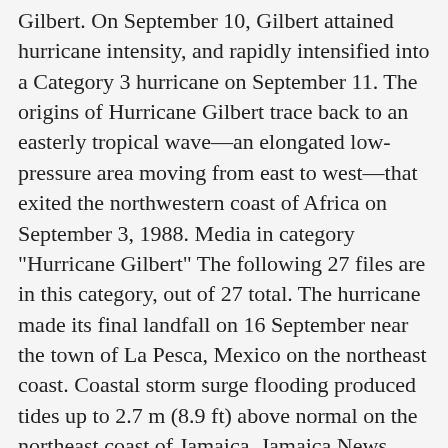Gilbert. On September 10, Gilbert attained hurricane intensity, and rapidly intensified into a Category 3 hurricane on September 11. The origins of Hurricane Gilbert trace back to an easterly tropical wave—an elongated low-pressure area moving from east to west—that exited the northwestern coast of Africa on September 3, 1988. Media in category "Hurricane Gilbert" The following 27 files are in this category, out of 27 total. The hurricane made its final landfall on 16 September near the town of La Pesca, Mexico on the northeast coast. Coastal storm surge flooding produced tides up to 2.7 m (8.9 ft) above normal on the northeast coast of Jamaica. Jamaica News. Hurricane Eta made landfall as a Category 4 hurricane on Nov. 3, in Nicaragua, which was among the top five strongest storms to ever hit the nation. Hurricane Gilbert's wind speeds maxed out at 185 mph (298 KPH). Over the subsequent days, the wave traversed the tropical Atlantic and developed a broad wind circulation extending just north of the equator. Getting water from a broken pipe in Kingston Jamaica, after Gilbert.jpg 2,910 ×